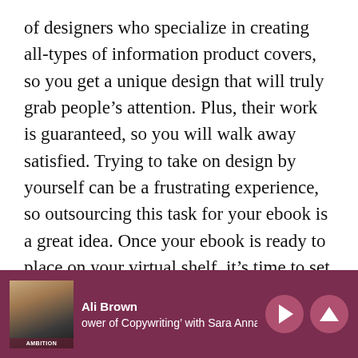of designers who specialize in creating all-types of information product covers, so you get a unique design that will truly grab people's attention. Plus, their work is guaranteed, so you will walk away satisfied. Trying to take on design by yourself can be a frustrating experience, so outsourcing this task for your ebook is a great idea. Once your ebook is ready to place on your virtual shelf, it's time to set up a reliable system to accept payments. This is the fun part! ☺ When I first started my business, I
[Figure (screenshot): Podcast player footer bar with dark maroon background. Shows a thumbnail photo of Ali Brown on the left, text 'Ali Brown' and 'ower of Copywriting' with Sara Anna' in the center, and play/up arrow control buttons on the right.]